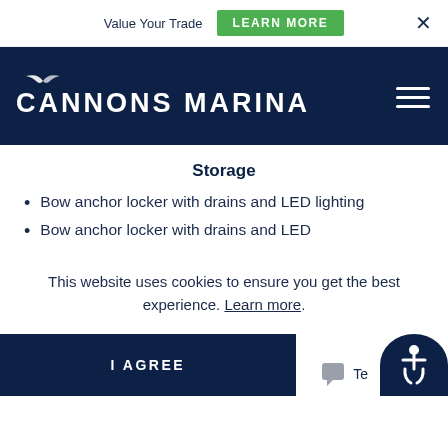Value Your Trade  LEARN MORE
[Figure (logo): Cannons Marina logo with seagull icon on dark navy navigation bar]
Storage
Bow anchor locker with drains and LED lighting
Bow anchor locker with drains and LED
This website uses cookies to ensure you get the best experience. Learn more.
I AGREE